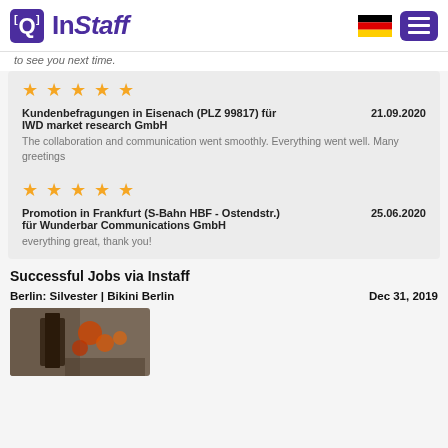InStaff
to see you next time.
★ ★ ★ ★ ★
Kundenbefragungen in Eisenach (PLZ 99817) für IWD market research GmbH   21.09.2020
The collaboration and communication went smoothly. Everything went well. Many greetings
★ ★ ★ ★ ★
Promotion in Frankfurt (S-Bahn HBF - Ostendstr.)  25.06.2020
für Wunderbar Communications GmbH
everything great, thank you!
Successful Jobs via Instaff
Berlin: Silvester | Bikini Berlin    Dec 31, 2019
[Figure (photo): Photo thumbnail of a Berlin event]